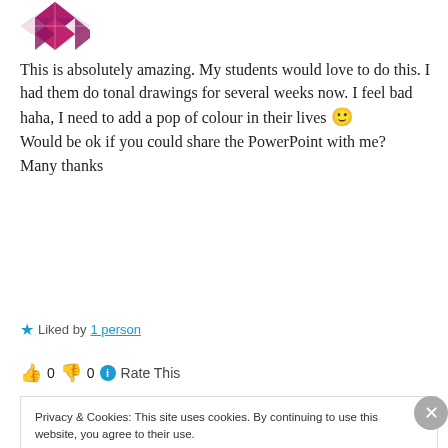[Figure (logo): Diamond/quilt pattern avatar icon in dark pink/maroon color]
This is absolutely amazing. My students would love to do this. I had them do tonal drawings for several weeks now. I feel bad haha, I need to add a pop of colour in their lives 🙂
Would be ok if you could share the PowerPoint with me?
Many thanks
★ Liked by 1 person
👍 0 👎 0 ℹ Rate This
Privacy & Cookies: This site uses cookies. By continuing to use this website, you agree to their use. To find out more, including how to control cookies, see here: Cookie Policy